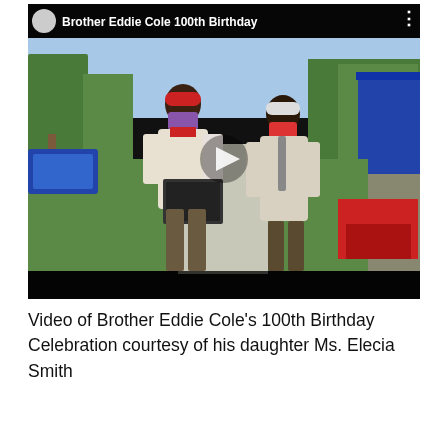[Figure (screenshot): YouTube video thumbnail showing two men wearing masks and caps standing outdoors at a birthday celebration. The video title bar reads 'Brother Eddie Cole 100th Birthday'. A play button is visible in the center of the image.]
Video of Brother Eddie Cole's 100th Birthday Celebration courtesy of his daughter Ms. Elecia Smith